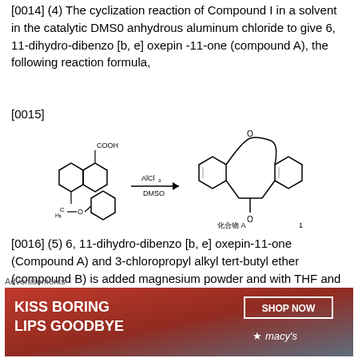[0014] (4) The cyclization reaction of Compound I in a solvent in the catalytic DMSO anhydrous aluminum chloride to give 6, 11-dihydro-dibenzo [b, e] oxepin -11-one (compound A), the following reaction formula,
[0015]
[Figure (schematic): Chemical reaction scheme showing two benzene-ring reactants (one with COOH and CH2-O group) reacting with AlCl3 and DMSO to form a tricyclic product (6,11-dihydro-dibenzo[b,e]oxepin-11-one, compound A labeled as 化合物 A)]
[0016] (5) 6, 11-dihydro-dibenzo [b, e] oxepin-11-one (Compound A) and 3-chloropropyl alkyl tert-butyl ether (compound B) is added magnesium powder and with THF and / or a nucleophilic addition of anhydrous diethyl ether
Advertisements
[Figure (other): Advertisement banner: KISS BORING LIPS GOODBYE - SHOP NOW - macys]